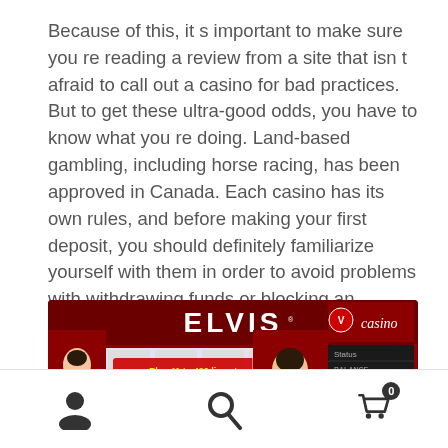Because of this, it s important to make sure you re reading a review from a site that isn t afraid to call out a casino for bad practices. But to get these ultra-good odds, you have to know what you re doing. Land-based gambling, including horse racing, has been approved in Canada. Each casino has its own rules, and before making your first deposit, you should definitely familiarize yourself with them in order to avoid problems with withdrawing funds or blocking an account.
[Figure (screenshot): Screenshot of Elvis Multi Strike slot machine game at Virgin Casino, showing reels with Elvis-themed symbols, a prompt to 'Play 41 to 400 lines to activate this level', a 4X Level Loved Win display, and a 'play for cash' button.]
Navigation footer with user icon, search icon, and cart icon with badge showing 0